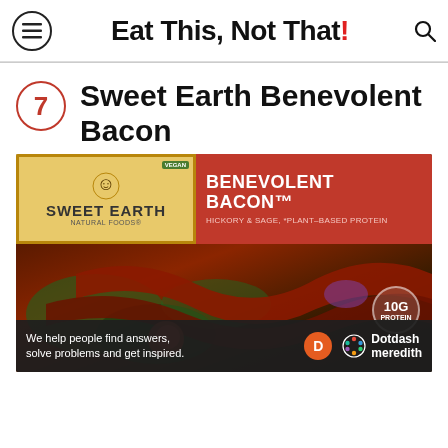Eat This, Not That!
7 Sweet Earth Benevolent Bacon
[Figure (photo): Sweet Earth Benevolent Bacon product package showing bacon strips with kale and tomatoes, with '10G Protein' badge and a Dotdash Meredith advertisement bar at the bottom.]